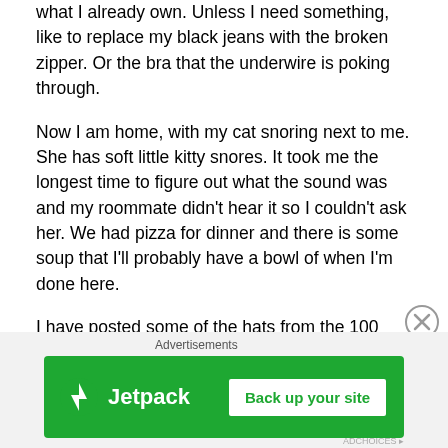what I already own. Unless I need something, like to replace my black jeans with the broken zipper. Or the bra that the underwire is poking through.
Now I am home, with my cat snoring next to me. She has soft little kitty snores. It took me the longest time to figure out what the sound was and my roommate didn't hear it so I couldn't ask her. We had pizza for dinner and there is some soup that I'll probably have a bowl of when I'm done here.
I have posted some of the hats from the 100 Hats Project on Etsy. You can see them here. They are pretty inexpensive for a handmade item, and for now any money earned will be spent on more yarn for more hats. I saw
[Figure (other): Jetpack advertisement banner with green background showing Jetpack logo and 'Back up your site' button]